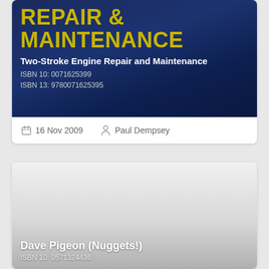[Figure (illustration): Book cover for Two-Stroke Engine Repair and Maintenance with dark blue background and yellow-green 'REPAIR & MAINTENANCE' title text, showing engine imagery]
Two-Stroke Engine Repair and Maintenance
ISBN 10: 0071625399
ISBN 13: 9780071625395
16 Nov 2009   Paul Dempsey
[Figure (illustration): Book cover for Dave Pigeon (Nuggets!) with light gray/white gradient background]
Dave Pigeon (Nuggets!)
ISBN 10: 0571324436